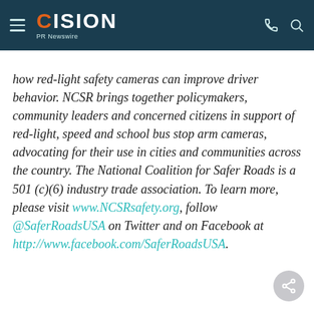CISION PR Newswire
how red-light safety cameras can improve driver behavior. NCSR brings together policymakers, community leaders and concerned citizens in support of red-light, speed and school bus stop arm cameras, advocating for their use in cities and communities across the country. The National Coalition for Safer Roads is a 501 (c)(6) industry trade association. To learn more, please visit www.NCSRsafety.org, follow @SaferRoadsUSA on Twitter and on Facebook at http://www.facebook.com/SaferRoadsUSA.